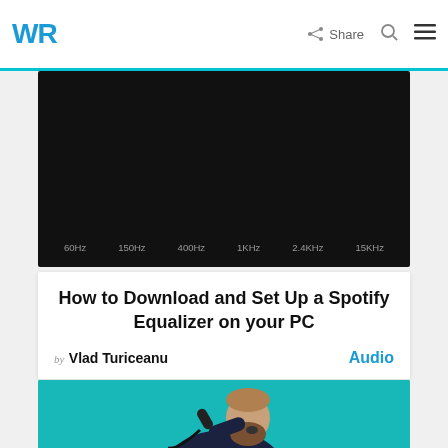WR  Share
[Figure (screenshot): Equalizer display with dark background showing frequency bands labeled 60Hz, 150Hz, 400Hz, 1KHz, 2.4KHz, 15KHz]
How to Download and Set Up a Spotify Equalizer on your PC
by Vlad Turiceanu  Audio
[Figure (photo): Bearded man in dark suit holding a microphone close to his face with mouth open, on a teal/turquoise background]